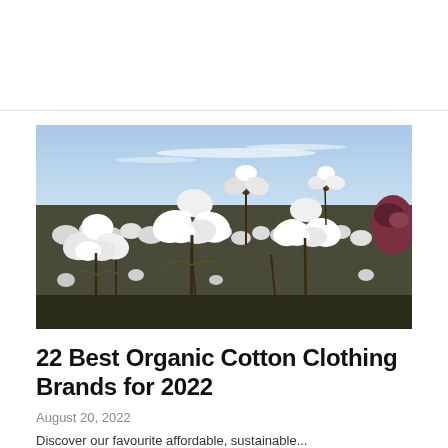[Figure (photo): Close-up photograph of a cotton field with white fluffy cotton bolls open on branches, blue sky with light clouds in the background.]
22 Best Organic Cotton Clothing Brands for 2022
August 20, 2022
Discover our favourite affordable, sustainable...